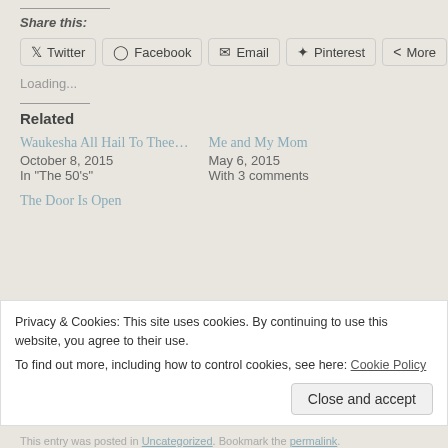Share this:
Twitter  Facebook  Email  Pinterest  More
Loading...
Related
Waukesha All Hail To Thee…
October 8, 2015
In "The 50's"
Me and My Mom
May 6, 2015
With 3 comments
The Door Is Open
Privacy & Cookies: This site uses cookies. By continuing to use this website, you agree to their use.
To find out more, including how to control cookies, see here: Cookie Policy
Close and accept
This entry was posted in Uncategorized. Bookmark the permalink.